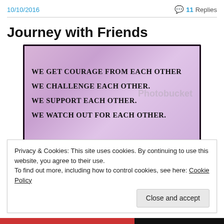10/10/2016   💬 11 Replies
Journey with Friends
[Figure (photo): Image with handwritten-style text on a purple/pink background reading: WE GET COURAGE FROM EACH OTHER. WE CHALLENGE EACH OTHER. WE SUPPORT EACH OTHER. WE WATCH OUT FOR EACH OTHER. Photobucket watermark visible.]
Privacy & Cookies: This site uses cookies. By continuing to use this website, you agree to their use.
To find out more, including how to control cookies, see here: Cookie Policy
Close and accept